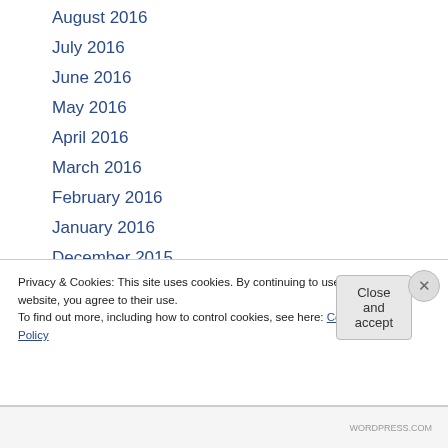August 2016
July 2016
June 2016
May 2016
April 2016
March 2016
February 2016
January 2016
December 2015
November 2015
October 2015
September 2015
Privacy & Cookies: This site uses cookies. By continuing to use this website, you agree to their use. To find out more, including how to control cookies, see here: Cookie Policy
Close and accept